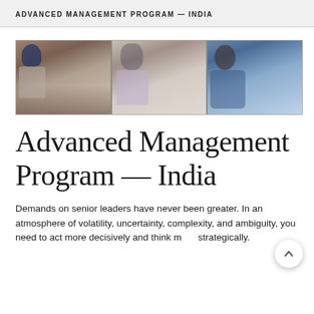ADVANCED MANAGEMENT PROGRAM — INDIA
[Figure (photo): Three photos of program participants in discussion at the Advanced Management Program India: a man wearing a blue turban, a man in a light purple shirt, and a smiling woman in a blue shawl.]
Advanced Management Program — India
Demands on senior leaders have never been greater. In an atmosphere of volatility, uncertainty, complexity, and ambiguity, you need to act more decisively and think more strategically.